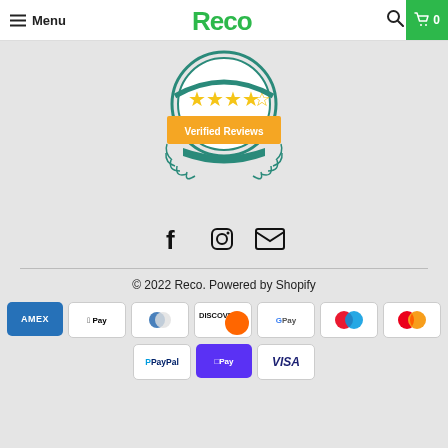Menu | Reco | Search | Cart 0
[Figure (logo): Verified Reviews badge with 4.5 gold stars, teal shield with laurel wreath decoration]
[Figure (infographic): Social media icons: Facebook, Instagram, Email]
© 2022 Reco. Powered by Shopify
[Figure (infographic): Payment method icons: AMEX, Apple Pay, Diners Club, Discover, Google Pay, Maestro, Mastercard, PayPal, Shop Pay, Visa]